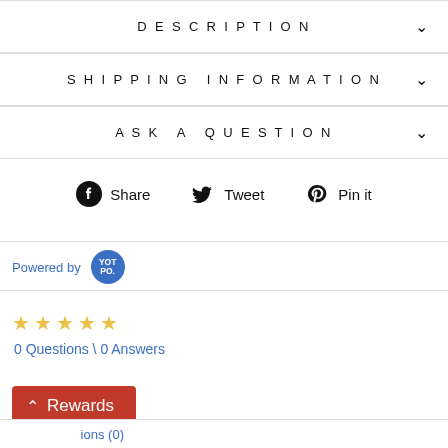DESCRIPTION
SHIPPING INFORMATION
ASK A QUESTION
Share  Tweet  Pin it
Powered by YOTPO
☆☆☆☆☆
0 Questions \ 0 Answers
Rewards